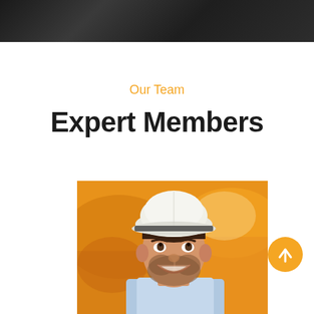[Figure (photo): Dark banner/header image at top of page showing blurred dark background]
Our Team
Expert Members
[Figure (photo): Smiling male construction worker wearing a white hard hat, with orange construction equipment in background]
[Figure (other): Golden circular scroll-to-top button with upward arrow]